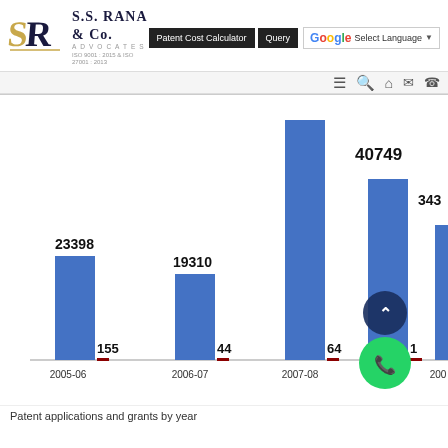S.S. RANA & CO. ADVOCATES — Patent Cost Calculator | Query | Select Language
[Figure (bar-chart): Patent Filings Bar Chart]
Patent applications and grants by year (2005-06 to 2008-09+)